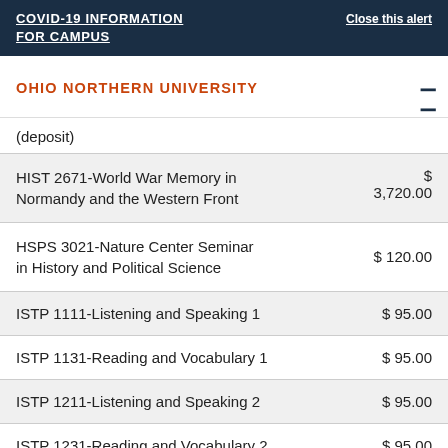COVID-19 INFORMATION FOR CAMPUS   Close this alert
OHIO NORTHERN UNIVERSITY
| Course | Fee |
| --- | --- |
| (deposit) |  |
| HIST 2671-World War Memory in Normandy and the Western Front | $ 3,720.00 |
| HSPS 3021-Nature Center Seminar in History and Political Science | $ 120.00 |
| ISTP 1111-Listening and Speaking 1 | $ 95.00 |
| ISTP 1131-Reading and Vocabulary 1 | $ 95.00 |
| ISTP 1211-Listening and Speaking 2 | $ 95.00 |
| ISTP 1231-Reading and Vocabulary 2 | $ 95.00 |
| LAW 1399-Negotiation Workshop | $ 50.00 |